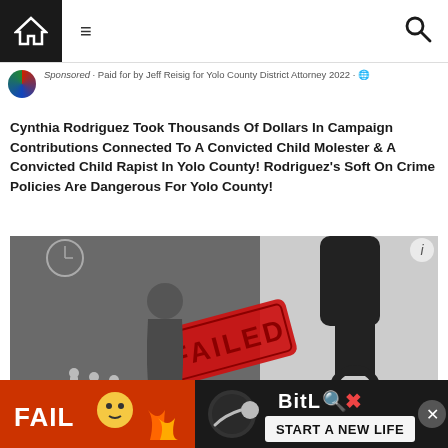Home | Menu | Search
Sponsored · Paid for by Jeff Reisig for Yolo County District Attorney 2022 · 🌐
Cynthia Rodriguez Took Thousands Of Dollars In Campaign Contributions Connected To A Convicted Child Molester & A Convicted Child Rapist In Yolo County! Rodriguez's Soft On Crime Policies Are Dangerous For Yolo County!
[Figure (photo): Black and white photo of Cynthia Rodriguez merged with a silhouette of a hand holding handcuffs, with a red 'FAILED' stamp overlay and 'CYNTHIA' text at bottom]
[Figure (infographic): Bottom advertisement banner for BitLife mobile game featuring 'FAIL' text, cartoon character, flames, and 'START A NEW LIFE' tagline]